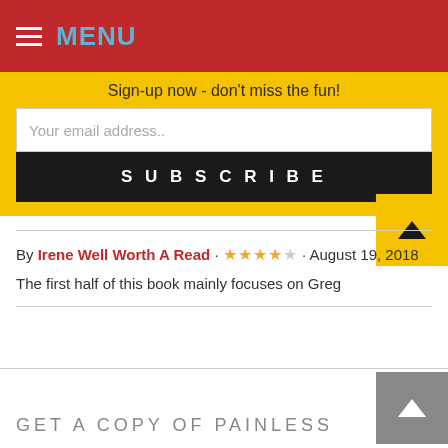MENU
Sign-up now - don't miss the fun!
Your email address..
SUBSCRIBE
By Irene Well Worth A Read · ★★★★☆ · August 19, 2018
The first half of this book mainly focuses on Greg
GET A COPY OF PAINLESS